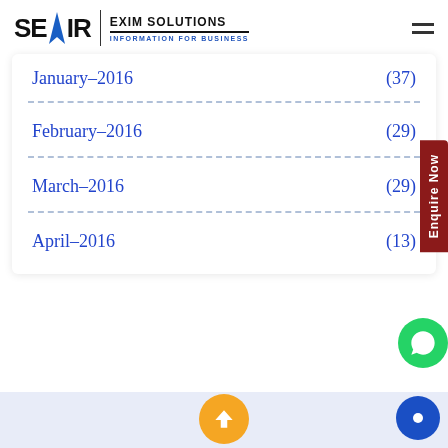SEAIR EXIM SOLUTIONS — INFORMATION FOR BUSINESS
January-2016 (37)
February-2016 (29)
March-2016 (29)
April-2016 (13)